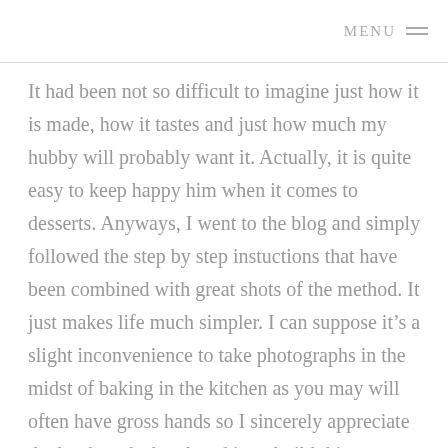MENU
It had been not so difficult to imagine just how it is made, how it tastes and just how much my hubby will probably want it. Actually, it is quite easy to keep happy him when it comes to desserts. Anyways, I went to the blog and simply followed the step by step instuctions that have been combined with great shots of the method. It just makes life much simpler. I can suppose it’s a slight inconvenience to take photographs in the midst of baking in the kitchen as you may will often have gross hands so I sincerely appreciate the hard work she placed in to build this post .
With that said I am encouraged to present my own, personal recipes in a similar fashion. Many thanks for the